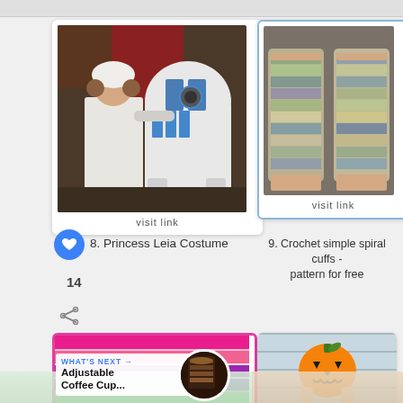[Figure (photo): Child dressed as Princess Leia next to R2-D2 robot]
visit link
8. Princess Leia Costume
[Figure (photo): Crochet fingerless gloves/cuffs in blue, yellow, and white]
visit link
9. Crochet simple spiral cuffs - pattern for free
14
[Figure (photo): Colorful striped crochet pattern in pink, purple, blue, green, orange]
WHAT'S NEXT → Adjustable Coffee Cup...
[Figure (photo): Child in pumpkin Halloween costume holding pumpkin head]